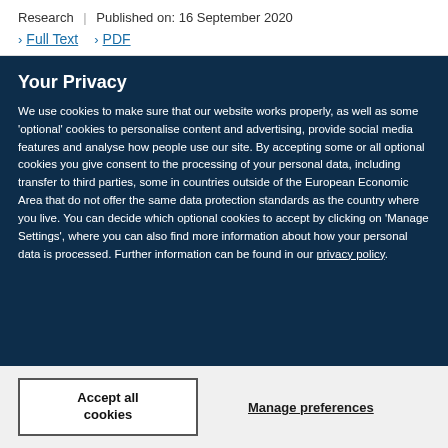Research | Published on: 16 September 2020
> Full Text > PDF
Your Privacy
We use cookies to make sure that our website works properly, as well as some 'optional' cookies to personalise content and advertising, provide social media features and analyse how people use our site. By accepting some or all optional cookies you give consent to the processing of your personal data, including transfer to third parties, some in countries outside of the European Economic Area that do not offer the same data protection standards as the country where you live. You can decide which optional cookies to accept by clicking on 'Manage Settings', where you can also find more information about how your personal data is processed. Further information can be found in our privacy policy.
Accept all cookies
Manage preferences